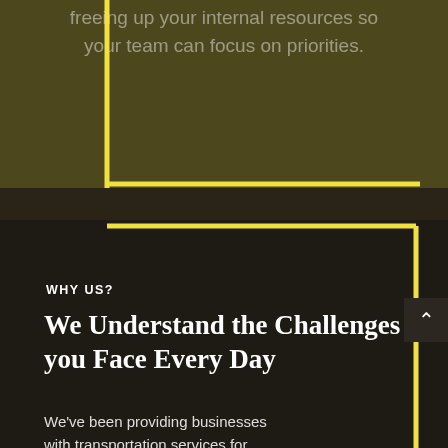freeing up your internal resources so your team can focus on priorities.
WHY US?
We Understand the Challenges you Face Every Day
We've been providing businesses with transportation services for